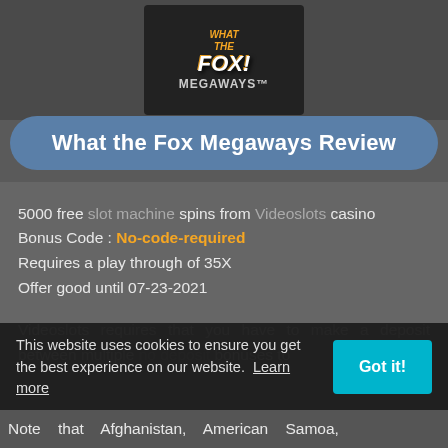[Figure (screenshot): Game logo image for What the Fox Megaways slot machine]
What the Fox Megaways Review
5000 free slot machine spins from Videoslots casino
Bonus Code : No-code-required
Requires a play through of 35X
Offer good until 07-23-2021
Videoslots requires that you have to make a deposit between multiple no deposit bonuses to
This website uses cookies to ensure you get the best experience on our website. Learn more
Note that Afghanistan, American Samoa,